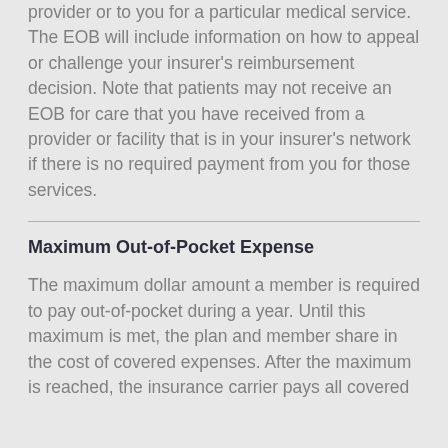provider or to you for a particular medical service. The EOB will include information on how to appeal or challenge your insurer's reimbursement decision. Note that patients may not receive an EOB for care that you have received from a provider or facility that is in your insurer's network if there is no required payment from you for those services.
Maximum Out-of-Pocket Expense
The maximum dollar amount a member is required to pay out-of-pocket during a year. Until this maximum is met, the plan and member share in the cost of covered expenses. After the maximum is reached, the insurance carrier pays all covered